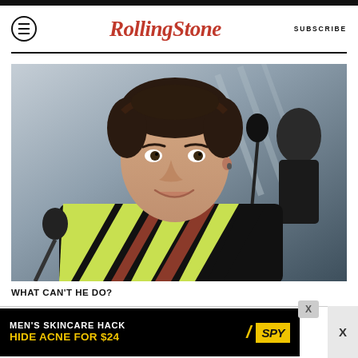Rolling Stone  SUBSCRIBE
[Figure (photo): Close-up photo of a young man with dark wavy hair smiling, wearing a black sweater with yellow and brown diagonal stripes, standing near a microphone with another person in background]
WHAT CAN'T HE DO?
[Figure (infographic): Advertisement banner: MEN'S SKINCARE HACK — HIDE ACNE FOR $24 — SPY logo in yellow]